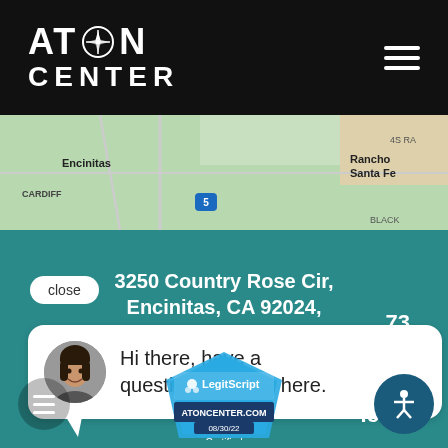[Figure (logo): ATON Center logo with compass rose icon on black header bar]
[Figure (map): Google Maps screenshot showing Encinitas, Cardiff, Rancho Santa Fe area]
3250 Country Rose Cir, Encinitas, CA 92024
close
Hi there, have a question? Text us here.
...73
.com/
[Figure (logo): LegitScript certified badge for ATONCENTER.COM 08/30/22 Certified]